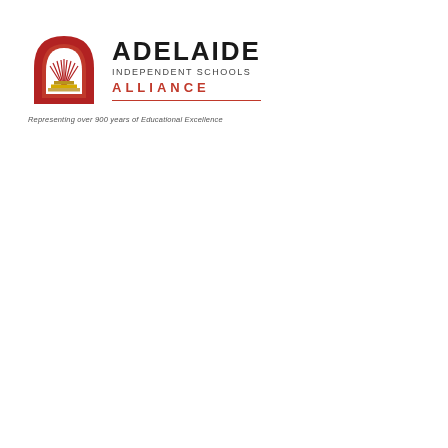[Figure (logo): Adelaide Independent Schools Alliance logo: red archway icon with wheat/book motif and golden steps, beside bold text 'ADELAIDE' with 'INDEPENDENT SCHOOLS' and 'ALLIANCE' in red lettering, a red horizontal rule, and tagline 'Representing over 900 years of Educational Excellence']